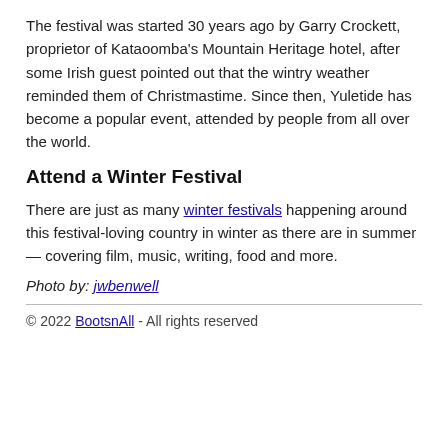The festival was started 30 years ago by Garry Crockett, proprietor of Kataoomba's Mountain Heritage hotel, after some Irish guest pointed out that the wintry weather reminded them of Christmastime. Since then, Yuletide has become a popular event, attended by people from all over the world.
Attend a Winter Festival
There are just as many winter festivals happening around this festival-loving country in winter as there are in summer — covering film, music, writing, food and more.
Photo by: jwbenwell
© 2022 BootsnAll - All rights reserved